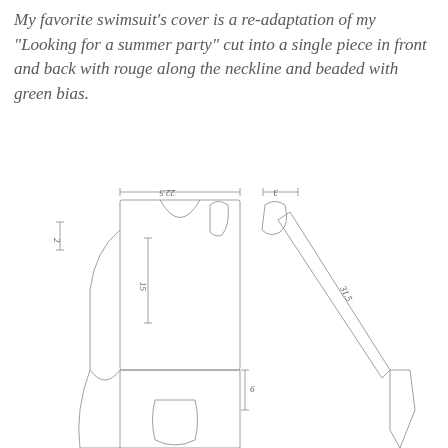My favorite swimsuit's cover is a re-adaptation of my "Looking for a summer party" cut into a single piece in front and back with rouge along the neckline and beaded with green bias.
[Figure (schematic): Sewing pattern schematic showing swimsuit cover pieces with dimension annotations: 22.5, 3, 2, 15, 31.5, 6]